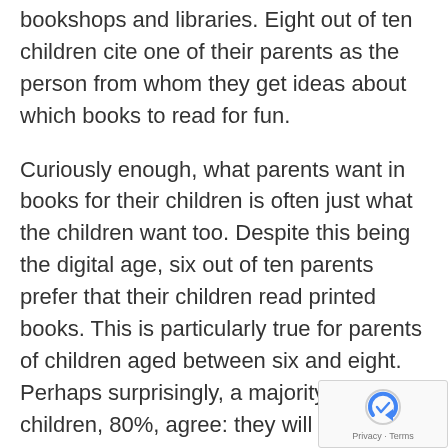bookshops and libraries. Eight out of ten children cite one of their parents as the person from whom they get ideas about which books to read for fun.
Curiously enough, what parents want in books for their children is often just what the children want too. Despite this being the digital age, six out of ten parents prefer that their children read printed books. This is particularly true for parents of children aged between six and eight. Perhaps surprisingly, a majority of children, 80%, agree: they will always want to read printed books despite the easy availability of ebooks.
The findings of the report were confirmed independently by observing the phenomenal crowds in Hall 14 of the World Book Fair in